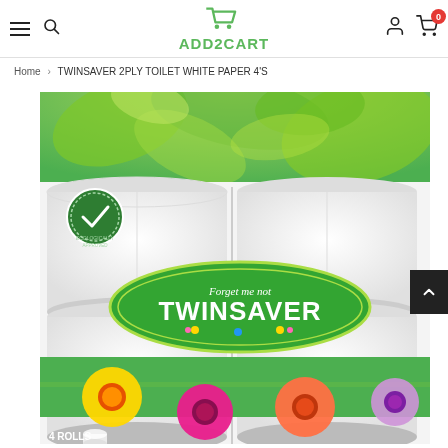ADD2CART — hamburger menu, search, user icon, cart (0)
Home > TWINSAVER 2PLY TOILET WHITE PAPER 4'S
[Figure (photo): Twinsaver 2-ply white toilet paper 4-pack with green leafy background, featuring the Twinsaver 'Forget me not' brand logo in a green oval, colourful gerbera flowers at the bottom, and an ecologically approved badge top-left.]